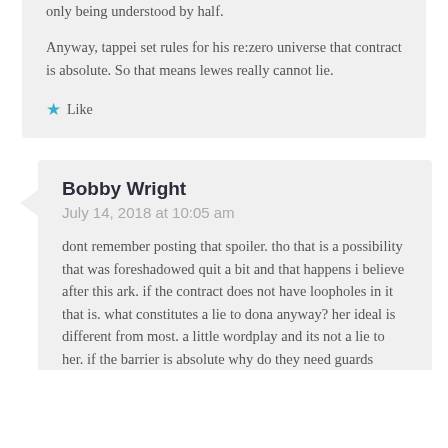only being understood by half.
Anyway, tappei set rules for his re:zero universe that contract is absolute. So that means lewes really cannot lie.
★ Like
Bobby Wright
July 14, 2018 at 10:05 am
dont remember posting that spoiler. tho that is a possibility that was foreshadowed quit a bit and that happens i believe after this ark. if the contract does not have loopholes in it that is. what constitutes a lie to dona anyway? her ideal is different from most. a little wordplay and its not a lie to her. if the barrier is absolute why do they need guards